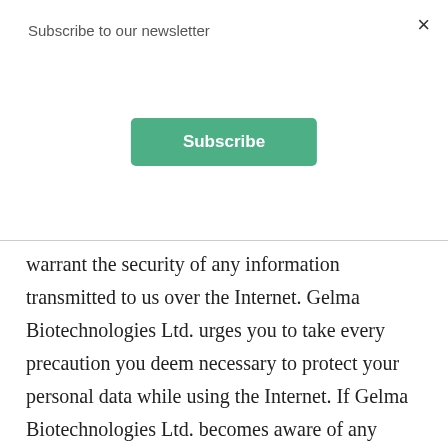Subscribe to our newsletter
[Figure (other): Green Subscribe button]
warrant the security of any information transmitted to us over the Internet. Gelma Biotechnologies Ltd. urges you to take every precaution you deem necessary to protect your personal data while using the Internet. If Gelma Biotechnologies Ltd. becomes aware of any incident that is likely to have other negative consequences for your privacy, we will notify you, in accordance with applicable law, using the address information that you previously provided. It is your responsibility to make sure that any personal data you provide to Gelma Biotechnologies Ltd. is current and